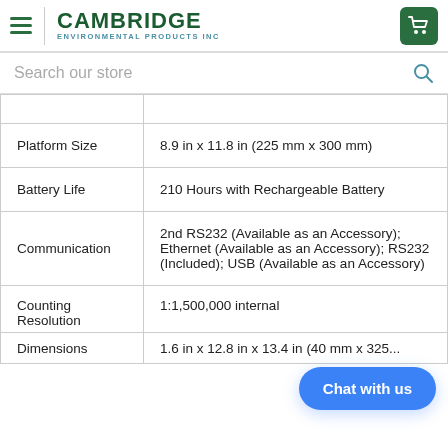CAMBRIDGE ENVIRONMENTAL PRODUCTS INC
Search our store
| Platform Size | 8.9 in x 11.8 in (225 mm x 300 mm) |
| Battery Life | 210 Hours with Rechargeable Battery |
| Communication | 2nd RS232 (Available as an Accessory);  Ethernet (Available as an Accessory);  RS232 (Included);  USB (Available as an Accessory) |
| Counting Resolution | 1:1,500,000 internal |
| Dimensions | 1.6 in x 12.8 in x 13.4 in (40 mm x 325 mm... |
Chat with us